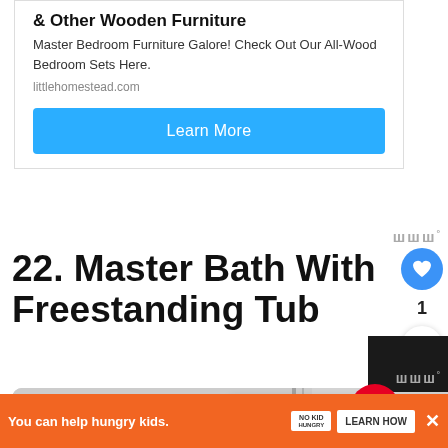& Other Wooden Furniture
Master Bedroom Furniture Galore! Check Out Our All-Wood Bedroom Sets Here.
littlehomestead.com
Learn More
22. Master Bath With Freestanding Tub
[Figure (photo): Master bathroom with glass shower partition and hanging chandelier]
WHAT'S NEXT → 37+ Purple Bathroom...
You can help hungry kids.
LEARN HOW